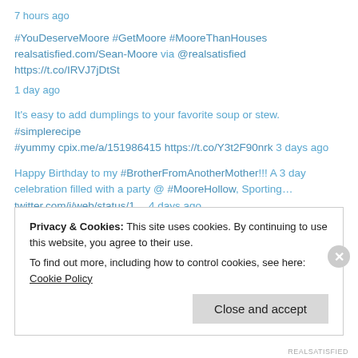7 hours ago
#YouDeserveMoore #GetMoore #MooreThanHouses realsatisfied.com/Sean-Moore via @realsatisfied https://t.co/IRVJ7jDtSt
1 day ago
It's easy to add dumplings to your favorite soup or stew. #simplerecipe #yummy cpix.me/a/151986415 https://t.co/Y3t2F90nrk 3 days ago
Happy Birthday to my #BrotherFromAnotherMother!!! A 3 day celebration filled with a party @ #MooreHollow, Sporting… twitter.com/i/web/status/1… 4 days ago
Privacy & Cookies: This site uses cookies. By continuing to use this website, you agree to their use.
To find out more, including how to control cookies, see here: Cookie Policy
Close and accept